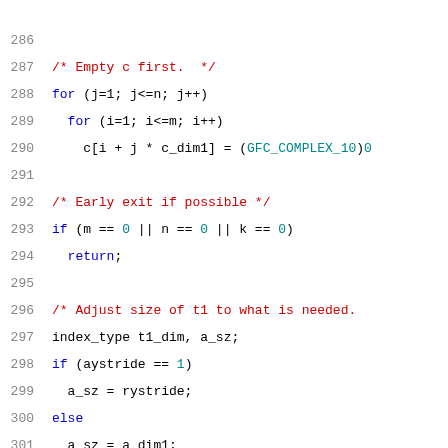[Figure (screenshot): Source code listing showing lines 286-306 of a C program implementing matrix multiplication with complex numbers. The code initializes array c to zero, checks for early exit conditions, and adjusts the size of t1.]